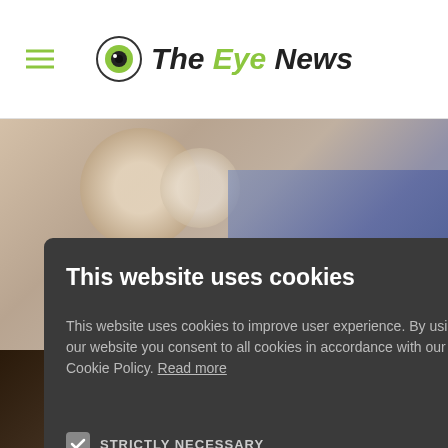The Eye News
[Figure (screenshot): Cookie consent modal overlay on The Eye News website. Background shows a photo of an elderly person examining pills and another partial image at bottom. Modal has dark grey background with title 'This website uses cookies', body text, STRICTLY NECESSARY checked checkbox, TARGETING unchecked checkbox, ACCEPT ALL and DECLINE ALL buttons, and SHOW DETAILS option.]
This website uses cookies
This website uses cookies to improve user experience. By using our website you consent to all cookies in accordance with our Cookie Policy. Read more
STRICTLY NECESSARY
TARGETING
ACCEPT ALL
DECLINE ALL
SHOW DETAILS
Red light